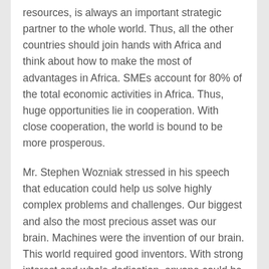resources, is always an important strategic partner to the whole world. Thus, all the other countries should join hands with Africa and think about how to make the most of advantages in Africa. SMEs account for 80% of the total economic activities in Africa. Thus, huge opportunities lie in cooperation. With close cooperation, the world is bound to be more prosperous.
Mr. Stephen Wozniak stressed in his speech that education could help us solve highly complex problems and challenges. Our biggest and also the most precious asset was our brain. Machines were the invention of our brain. This world required good inventors. With strong interest and whole dedication, anyone could be a good inventor and every minute of your work counted.